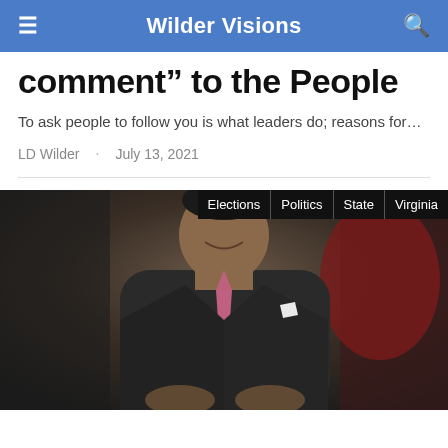Wilder Visions
comment” to the People
To ask people to follow you is what leaders do; reasons for…
LD Wilder · July 13, 2021
[Figure (photo): A man in a dark suit with a pink tie, seated, smiling, in an office setting with dark red leather chair visible. Tags overlay the upper right: Elections, Politics, State, Virginia.]